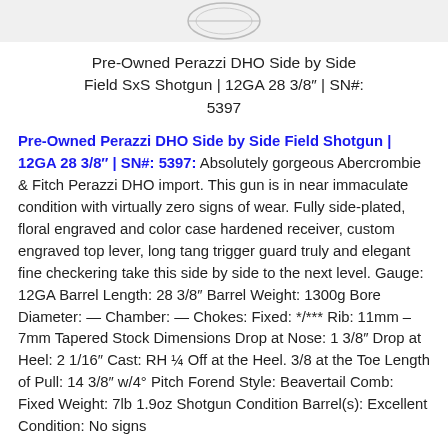[Figure (illustration): Partial logo or image at the top of the page, cropped, showing a circular emblem.]
Pre-Owned Perazzi DHO Side by Side Field SxS Shotgun | 12GA 28 3/8″ | SN#: 5397
Pre-Owned Perazzi DHO Side by Side Field Shotgun | 12GA 28 3/8″ | SN#: 5397: Absolutely gorgeous Abercrombie & Fitch Perazzi DHO import. This gun is in near immaculate condition with virtually zero signs of wear. Fully side-plated, floral engraved and color case hardened receiver, custom engraved top lever, long tang trigger guard truly and elegant fine checkering take this side by side to the next level. Gauge:  12GA Barrel Length:  28 3/8″ Barrel Weight: 1300g  Bore Diameter:  — Chamber:  — Chokes: Fixed: */*** Rib: 11mm – 7mm Tapered Stock Dimensions Drop at Nose:  1 3/8″ Drop at Heel: 2 1/16″ Cast: RH ¼ Off at the Heel. 3/8 at the Toe Length of Pull:  14 3/8″ w/4° Pitch Forend Style: Beavertail Comb: Fixed Weight: 7lb 1.9oz Shotgun Condition Barrel(s): Excellent Condition: No signs